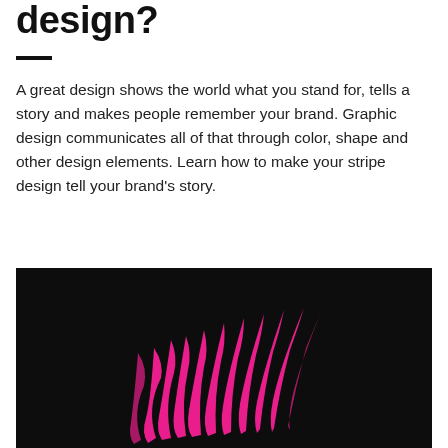design?
A great design shows the world what you stand for, tells a story and makes people remember your brand. Graphic design communicates all of that through color, shape and other design elements. Learn how to make your stripe design tell your brand's story.
[Figure (illustration): Black background with pink/magenta flame-like or wave-like stripe design shapes in the lower center of the image.]